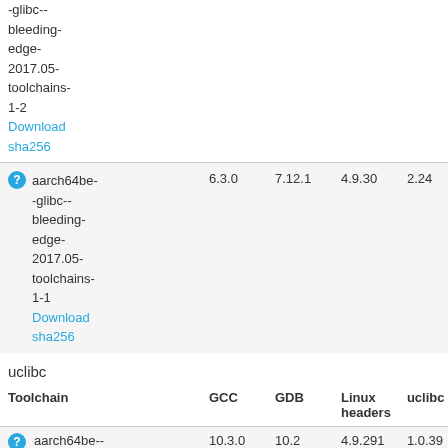| Toolchain | GCC | GDB | Linux headers | glibc | binutils |
| --- | --- | --- | --- | --- | --- |
| glibc-- bleeding-edge-2017.05-toolchains-1-2 Download sha256 |  |  |  |  |  |
| aarch64be--glibc--bleeding-edge-2017.05-toolchains-1-1 Download sha256 | 6.3.0 | 7.12.1 | 4.9.30 | 2.24 |  |
uclibc
| Toolchain | GCC | GDB | Linux headers | uclibc | binutils |
| --- | --- | --- | --- | --- | --- |
| aarch64be--uclibc--stable | 10.3.0 | 10.2 | 4.9.291 | 1.0.39 | 2.36.1 |